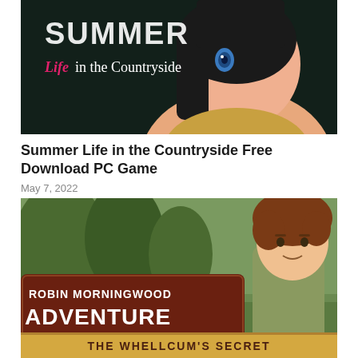[Figure (illustration): Anime-style game cover art for 'Summer Life in the Countryside' featuring a dark-haired female character with blue eyes on a dark background with pink and white text.]
Summer Life in the Countryside Free Download PC Game
May 7, 2022
[Figure (illustration): Game cover art for 'Robin Morningwood Adventure – The Whellcum's Secret' featuring a cartoon male character with brown hair on a forest background with decorative text.]